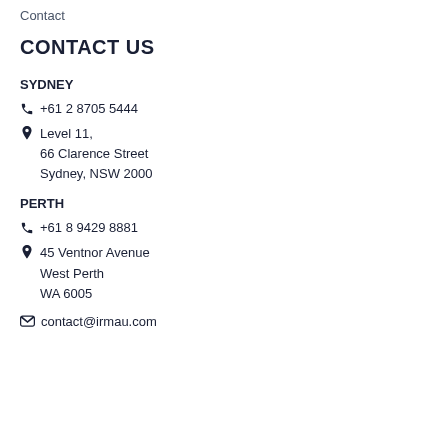Contact
CONTACT US
SYDNEY
+61 2 8705 5444
Level 11,
66 Clarence Street
Sydney, NSW 2000
PERTH
+61 8 9429 8881
45 Ventnor Avenue
West Perth
WA 6005
contact@irmau.com